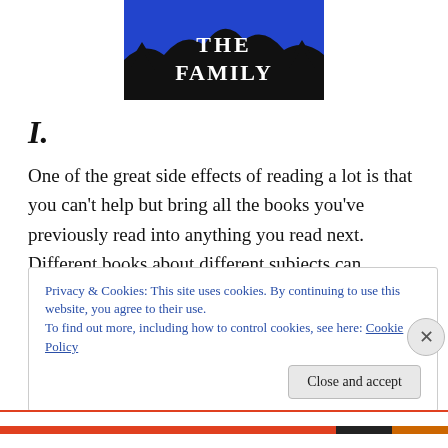[Figure (logo): Book cover or logo image: blue background with black silhouette of trees/mountain and white serif text reading 'THE FAMILY']
I.
One of the great side effects of reading a lot is that you can't help but bring all the books you've previously read into anything you read next. Different books about different subjects can actually start talking to each other.
Privacy & Cookies: This site uses cookies. By continuing to use this website, you agree to their use.
To find out more, including how to control cookies, see here: Cookie Policy
Close and accept